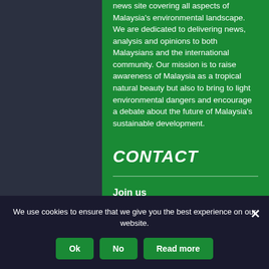news site covering all aspects of Malaysia's environmental landscape. We are dedicated to delivering news, analysis and opinions to both Malaysians and the international community. Our mission is to raise awareness of Malaysia as a tropical natural beauty but also to bring to light environmental dangers and encourage a debate about the future of Malaysia's sustainable development.
CONTACT
Join us
[Figure (illustration): Facebook and Twitter social media icons (white circles with logos)]
We use cookies to ensure that we give you the best experience on our website.